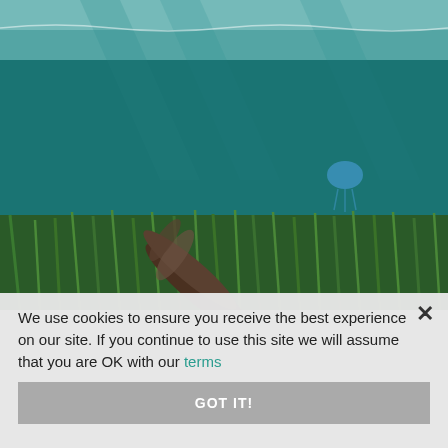[Figure (photo): Underwater photograph of a cormorant diving through clear teal water above a bed of green seagrass. A blue jellyfish or plastic bag is visible in the background on the right.]
We use cookies to ensure you receive the best experience on our site. If you continue to use this site we will assume that you are OK with our terms
GOT IT!